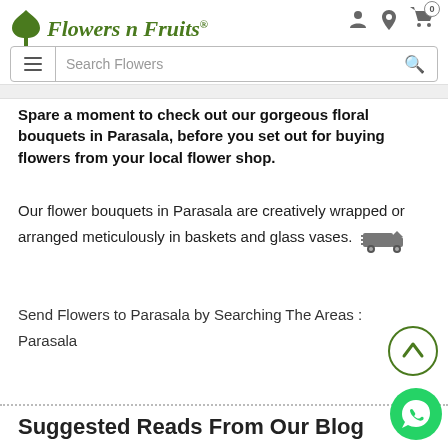Flowers n Fruits
Spare a moment to check out our gorgeous floral bouquets in Parasala, before you set out for buying flowers from your local flower shop.
Our flower bouquets in Parasala are creatively wrapped or arranged meticulously in baskets and glass vases.
Send Flowers to Parasala by Searching The Areas :
Parasala
Suggested Reads From Our Blog